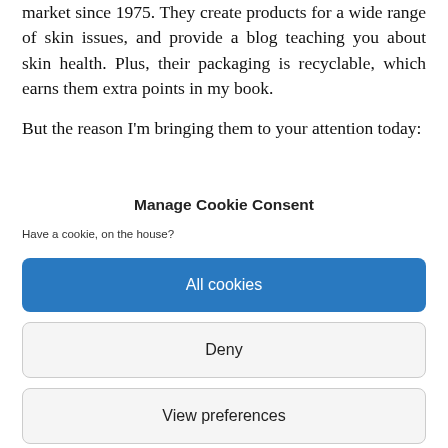market since 1975. They create products for a wide range of skin issues, and provide a blog teaching you about skin health. Plus, their packaging is recyclable, which earns them extra points in my book.
But the reason I'm bringing them to your attention today:
Manage Cookie Consent
Have a cookie, on the house?
All cookies
Deny
View preferences